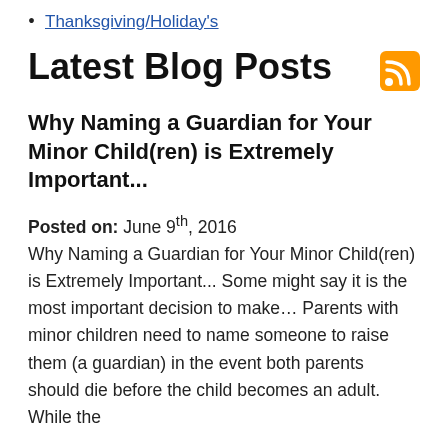Thanksgiving/Holiday's
Latest Blog Posts
Why Naming a Guardian for Your Minor Child(ren) is Extremely Important...
Posted on: June 9th, 2016
Why Naming a Guardian for Your Minor Child(ren) is Extremely Important... Some might say it is the most important decision to make… Parents with minor children need to name someone to raise them (a guardian) in the event both parents should die before the child becomes an adult. While the